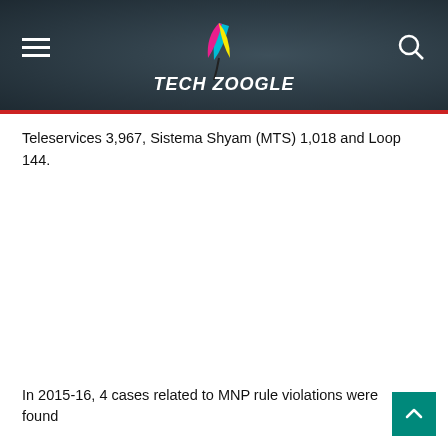Tech Zoogle (website header with logo, hamburger menu, and search icon)
Teleservices 3,967, Sistema Shyam (MTS) 1,018 and Loop 144.
In 2015-16, 4 cases related to MNP rule violations were found